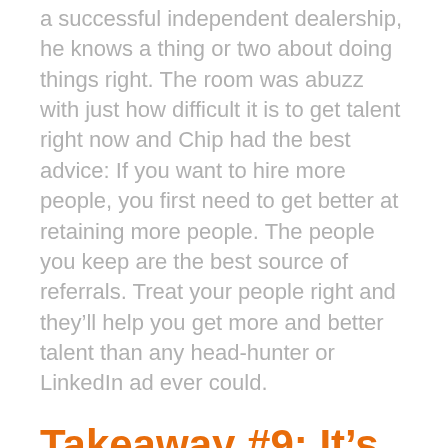a successful independent dealership, he knows a thing or two about doing things right. The room was abuzz with just how difficult it is to get talent right now and Chip had the best advice: If you want to hire more people, you first need to get better at retaining more people. The people you keep are the best source of referrals. Treat your people right and they'll help you get more and better talent than any head-hunter or LinkedIn ad ever could.
Takeaway #9: It's a Culture thing.
If you want to grow your business, you need to take a good look at your culture and ask some hard questions: Do we keep the same core vales